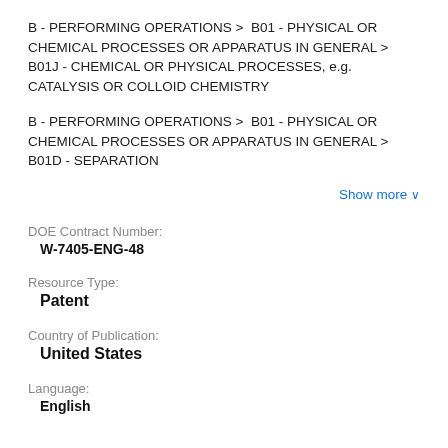B - PERFORMING OPERATIONS > B01 - PHYSICAL OR CHEMICAL PROCESSES OR APPARATUS IN GENERAL > B01J - CHEMICAL OR PHYSICAL PROCESSES, e.g. CATALYSIS OR COLLOID CHEMISTRY
B - PERFORMING OPERATIONS > B01 - PHYSICAL OR CHEMICAL PROCESSES OR APPARATUS IN GENERAL > B01D - SEPARATION
Show more ∨
DOE Contract Number:
W-7405-ENG-48
Resource Type:
Patent
Country of Publication:
United States
Language:
English